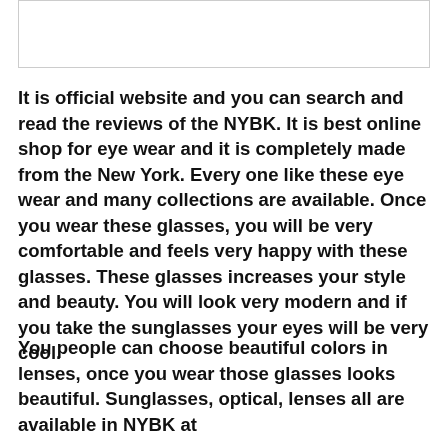[Figure (other): Empty white box with border at top of page]
It is official website and you can search and read the reviews of the NYBK. It is best online shop for eye wear and it is completely made from the New York. Every one like these eye wear and many collections are available. Once you wear these glasses, you will be very comfortable and feels very happy with these glasses. These glasses increases your style and beauty. You will look very modern and if you take the sunglasses your eyes will be very cool.
You people can choose beautiful colors in lenses, once you wear those glasses looks beautiful. Sunglasses, optical, lenses all are available in NYBK at affordable prices. You can also enter your emails to get